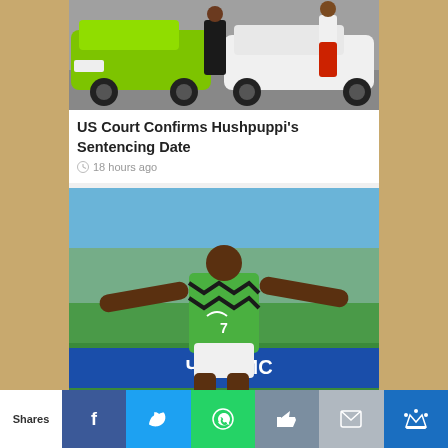[Figure (photo): Two people standing next to luxury cars - a green SUV and a white car]
US Court Confirms Hushpuppi's Sentencing Date
18 hours ago
[Figure (photo): Ahmed Musa celebrating a goal in Nigerian national team green jersey with arms outstretched, crowd in background]
Ahmed Musa Announces Birth Of Fifth Child
2 days ago
Shares | Facebook | Twitter | WhatsApp | Like | Email | Crown